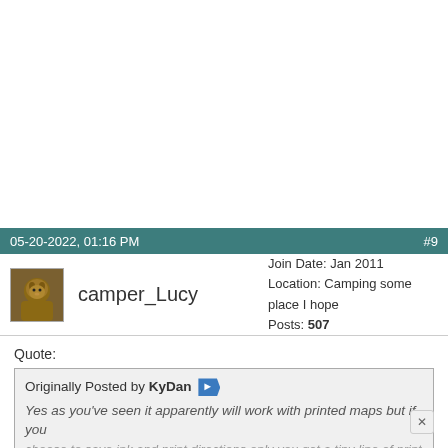05-20-2022, 01:16 PM   #9
camper_Lucy  Join Date: Jan 2011  Location: Camping some place I hope  Posts: 507
Quote: Originally Posted by KyDan  Yes as you've seen it apparently will work with printed maps but if you choose to save ink and print directions only you get a tiny line of print on page 1 that's the disclaimer and then all other pages are blank.